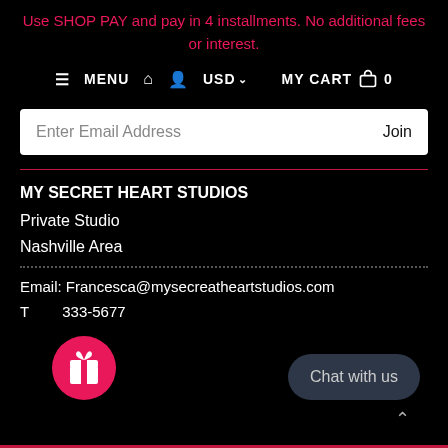Use SHOP PAY and pay in 4 installments. No additional fees or interest.
≡ MENU  🏠  👤  USD ∨  MY CART  🛍  0
Enter Email Address   Join
MY SECRET HEART STUDIOS
Private Studio
Nashville Area
Email: Francesca@mysecreatheartstudios.com
T: 333-5677
Chat with us